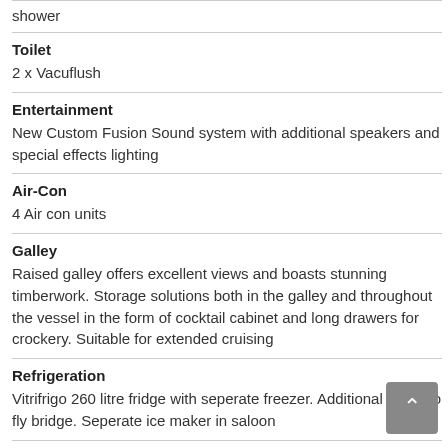shower
Toilet
2 x Vacuflush
Entertainment
New Custom Fusion Sound system with additional speakers and special effects lighting
Air-Con
4 Air con units
Galley
Raised galley offers excellent views and boasts stunning timberwork. Storage solutions both in the galley and throughout the vessel in the form of cocktail cabinet and long drawers for crockery. Suitable for extended cruising
Refrigeration
Vitrifrigo 260 litre fridge with seperate freezer. Additional fridge to fly bridge. Seperate ice maker in saloon
Freezer
Seperate with fridge
Stove
3 element electric